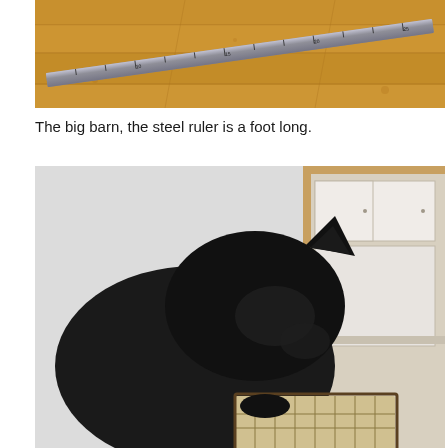[Figure (photo): A steel ruler approximately one foot long lying diagonally on a wooden floor with visible wood grain and planks.]
The big barn, the steel ruler is a foot long.
[Figure (photo): A black cat viewed from behind/side, leaning over a small tiled or mosaic table, with a kitchen doorway visible in the background.]